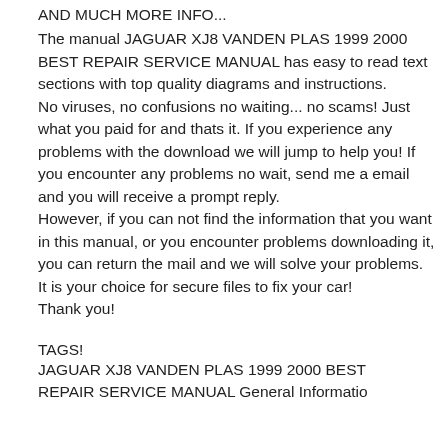AND MUCH MORE INFO...
The manual JAGUAR XJ8 VANDEN PLAS 1999 2000 BEST REPAIR SERVICE MANUAL has easy to read text sections with top quality diagrams and instructions.
No viruses, no confusions no waiting... no scams! Just what you paid for and thats it. If you experience any problems with the download we will jump to help you! If you encounter any problems no wait, send me a email and you will receive a prompt reply.
However, if you can not find the information that you want in this manual, or you encounter problems downloading it, you can return the mail and we will solve your problems.
It is your choice for secure files to fix your car! Thank you!
TAGS!
JAGUAR XJ8 VANDEN PLAS 1999 2000 BEST REPAIR SERVICE MANUAL General Information...